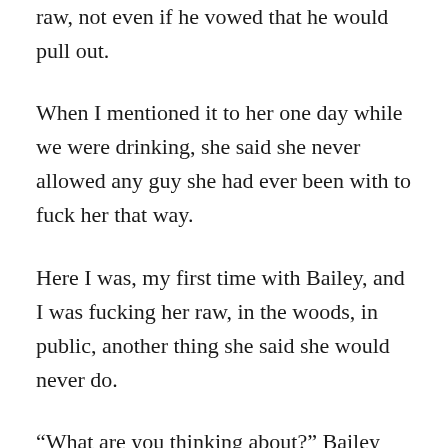raw, not even if he vowed that he would pull out.
When I mentioned it to her one day while we were drinking, she said she never allowed any guy she had ever been with to fuck her that way.
Here I was, my first time with Bailey, and I was fucking her raw, in the woods, in public, another thing she said she would never do.
“What are you thinking about?” Bailey asked as she looked back at me.
“How can you tell,” I said with a smile.
“Your dick just throbbed, and you have a smile on